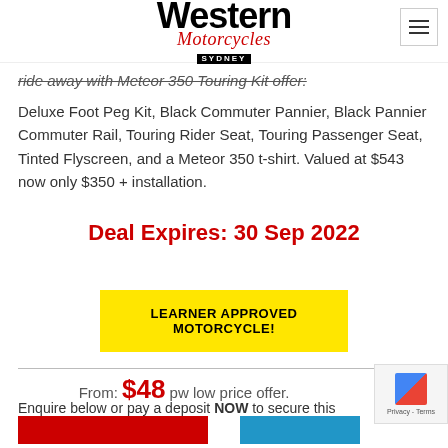Western Motorcycles SYDNEY
ride away with Meteor 350 Touring Kit offer:
Deluxe Foot Peg Kit, Black Commuter Pannier, Black Pannier Commuter Rail, Touring Rider Seat, Touring Passenger Seat, Tinted Flyscreen, and a Meteor 350 t-shirt. Valued at $543 now only $350 + installation.
Deal Expires: 30 Sep 2022
LEARNER APPROVED MOTORCYCLE!
From: $48 pw low price offer.
Enquire below or pay a deposit NOW to secure this bike.